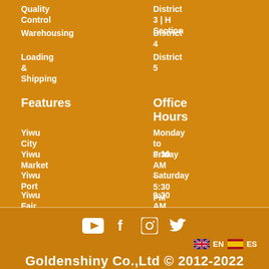Quality Control
District 3 | H Section
Warehousing
District 4
Loading & Shipping
District 5
Features
Office Hours
Yiwu City
Monday to Friday
Yiwu Market
8:30 AM - 5:30 PM
Yiwu Port
Saturday
Yiwu Fair
9:30 AM - 4:00 PM
Yiwugo.com
(China Standard Time)
Yiwu Covid-19
[Figure (infographic): Social media icons: YouTube, Facebook, Instagram, Twitter]
EN   ES
Goldenshiny Co.,Ltd © 2012-2022